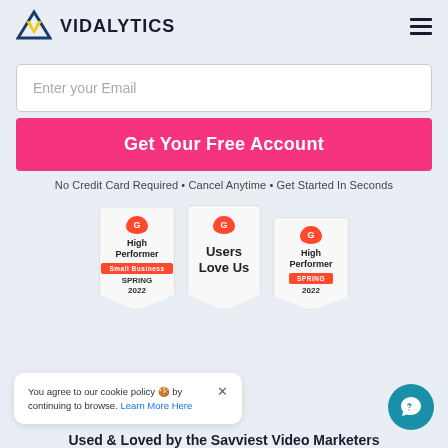VIDALYTICS
Enter your Email
Get Your Free Account
No Credit Card Required • Cancel Anytime • Get Started In Seconds
[Figure (logo): Three G2 badges: High Performer Small Business Spring 2022, Users Love Us, High Performer Spring 2022]
You agree to our cookie policy 🍪 by continuing to browse. Learn More Here
Used & Loved by the Savviest Video Marketers